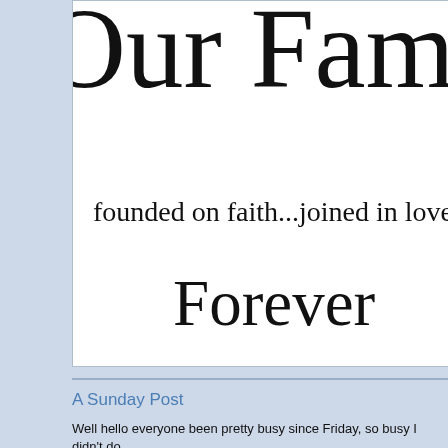[Figure (illustration): A decorative image on white background with cursive/script text reading 'Our Fam...' (Our Family, partially cropped) in large ornate script at the top, followed by 'founded on faith...joined in love' in smaller cursive script, and 'Forever' in large elegant cursive script below.]
A Sunday Post
Well hello everyone been pretty busy since Friday, so busy I didn't do...